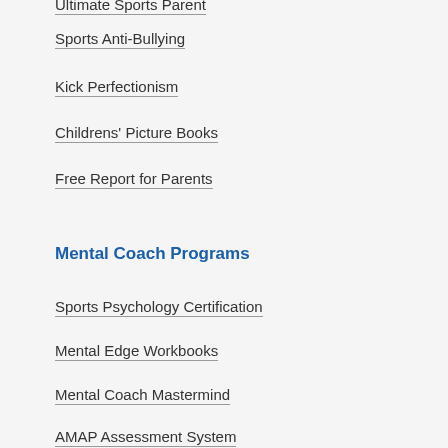Ultimate Sports Parent
Sports Anti-Bullying
Kick Perfectionism
Childrens' Picture Books
Free Report for Parents
Mental Coach Programs
Sports Psychology Certification
Mental Edge Workbooks
Mental Coach Mastermind
AMAP Assessment System